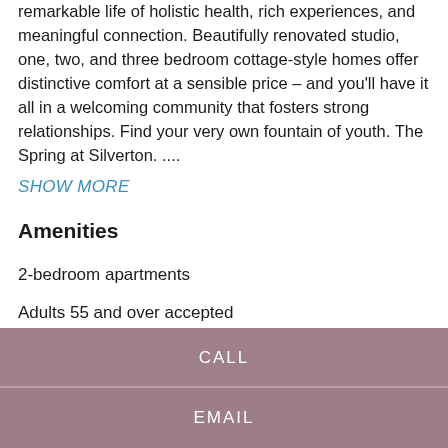remarkable life of holistic health, rich experiences, and meaningful connection. Beautifully renovated studio, one, two, and three bedroom cottage-style homes offer distinctive comfort at a sensible price – and you'll have it all in a welcoming community that fosters strong relationships. Find your very own fountain of youth. The Spring at Silverton. ....
SHOW MORE
Amenities
2-bedroom apartments
Adults 55 and over accepted
CALL
EMAIL